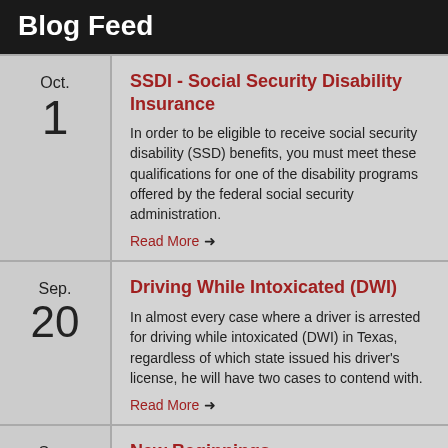Blog Feed
Oct. 1
SSDI - Social Security Disability Insurance
In order to be eligible to receive social security disability (SSD) benefits, you must meet these qualifications for one of the disability programs offered by the federal social security administration.
Read More →
Sep. 20
Driving While Intoxicated (DWI)
In almost every case where a driver is arrested for driving while intoxicated (DWI) in Texas, regardless of which state issued his driver's license, he will have two cases to contend with.
Read More →
Sep. 4
New Beginnings
Today, a new chapter in my practice begins as I have taken the first step into the world of my own solo law firm.